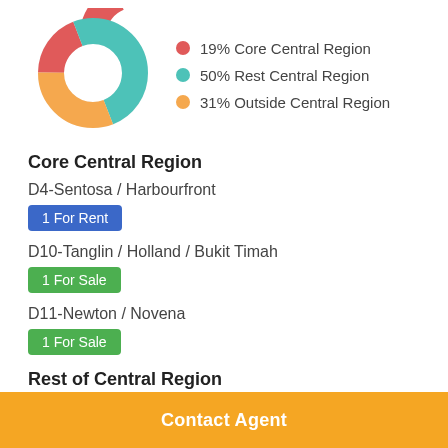[Figure (donut-chart): Property Distribution by Region]
Core Central Region
D4-Sentosa / Harbourfront
1 For Rent
D10-Tanglin / Holland / Bukit Timah
1 For Sale
D11-Newton / Novena
1 For Sale
Rest of Central Region
D2-Chinatown / Tanjong Pagar
Contact Agent